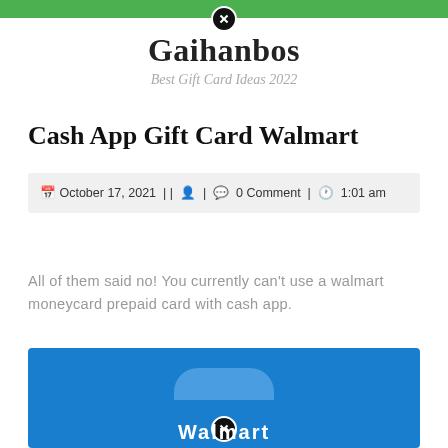Gaihanbos
Best Gift Card Ideas 2022
Cash App Gift Card Walmart
October 17, 2021 | | 0 Comment | 1:01 am
All of them said no! You currently can't use a walmart moneycard prepaid card with cash app.
[Figure (photo): Blue Walmart gift card with tab at top and Walmart branding text at bottom]